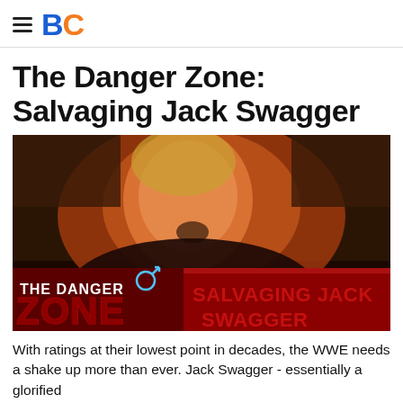BC
The Danger Zone: Salvaging Jack Swagger
[Figure (photo): Jack Swagger with an expression of surprise/excitement. Overlay text reads 'THE DANGER ZONE' and 'SALVAGING JACK SWAGGER' with a red banner graphic and male symbol.]
With ratings at their lowest point in decades, the WWE needs a shake up more than ever. Jack Swagger - essentially a glorified